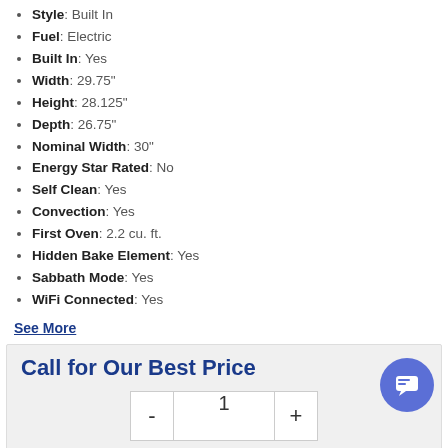Style: Built In
Fuel: Electric
Built In: Yes
Width: 29.75"
Height: 28.125"
Depth: 26.75"
Nominal Width: 30"
Energy Star Rated: No
Self Clean: Yes
Convection: Yes
First Oven: 2.2 cu. ft.
Hidden Bake Element: Yes
Sabbath Mode: Yes
WiFi Connected: Yes
See More
Call for Our Best Price
Request Quote